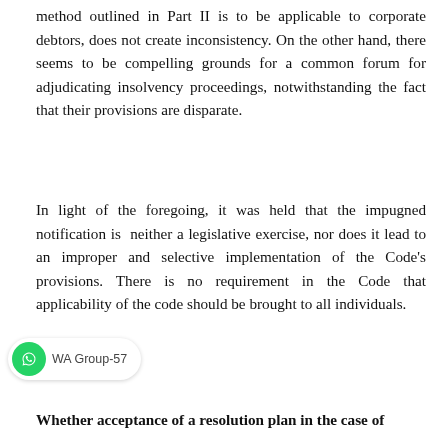method outlined in Part II is to be applicable to corporate debtors, does not create inconsistency. On the other hand, there seems to be compelling grounds for a common forum for adjudicating insolvency proceedings, notwithstanding the fact that their provisions are disparate.
In light of the foregoing, it was held that the impugned notification is neither a legislative exercise, nor does it lead to an improper and selective implementation of the Code's provisions. There is no requirement in the Code that applicability of the code should be brought to all individuals.
Whether acceptance of a resolution plan in the case of